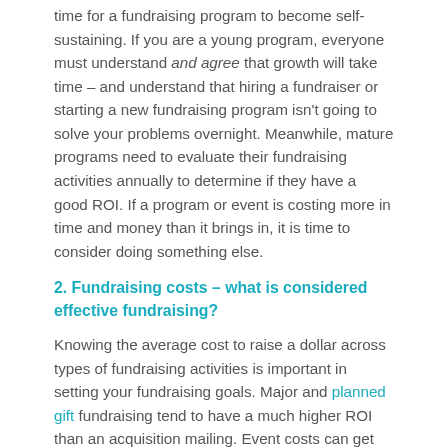time for a fundraising program to become self-sustaining. If you are a young program, everyone must understand and agree that growth will take time – and understand that hiring a fundraiser or starting a new fundraising program isn't going to solve your problems overnight. Meanwhile, mature programs need to evaluate their fundraising activities annually to determine if they have a good ROI. If a program or event is costing more in time and money than it brings in, it is time to consider doing something else.
2. Fundraising costs – what is considered effective fundraising?
Knowing the average cost to raise a dollar across types of fundraising activities is important in setting your fundraising goals. Major and planned gift fundraising tend to have a much higher ROI than an acquisition mailing. Event costs can get quickly out of control.
While these numbers aren't relevant to every organization, they are certainly numbers to strive for